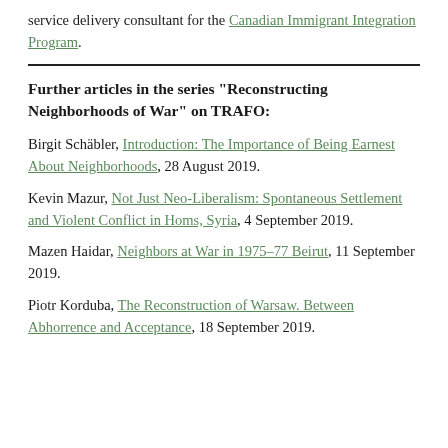service delivery consultant for the Canadian Immigrant Integration Program.
Further articles in the series “Reconstructing Neighborhoods of War” on TRAFO:
Birgit Schäbler, Introduction: The Importance of Being Earnest About Neighborhoods, 28 August 2019.
Kevin Mazur, Not Just Neo-Liberalism: Spontaneous Settlement and Violent Conflict in Homs, Syria, 4 September 2019.
Mazen Haidar, Neighbors at War in 1975-77 Beirut, 11 September 2019.
Piotr Korduba, The Reconstruction of Warsaw. Between Abhorrence and Acceptance, 18 September 2019.